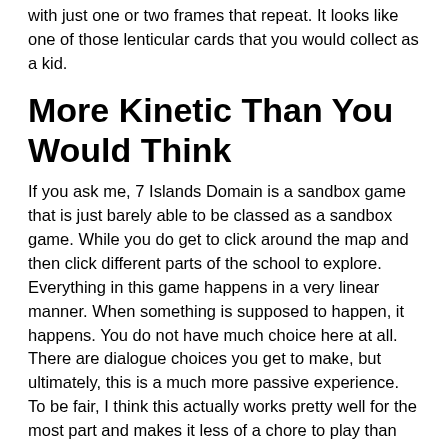with just one or two frames that repeat. It looks like one of those lenticular cards that you would collect as a kid.
More Kinetic Than You Would Think
If you ask me, 7 Islands Domain is a sandbox game that is just barely able to be classed as a sandbox game. While you do get to click around the map and then click different parts of the school to explore. Everything in this game happens in a very linear manner. When something is supposed to happen, it happens. You do not have much choice here at all. There are dialogue choices you get to make, but ultimately, this is a much more passive experience. To be fair, I think this actually works pretty well for the most part and makes it less of a chore to play than many other lewd sandbox games.
I had an interesting time with 7 Islands Domain. I liked how there was a good mixture of older ladies and sexy coeds to try and bang. The character models are a bit